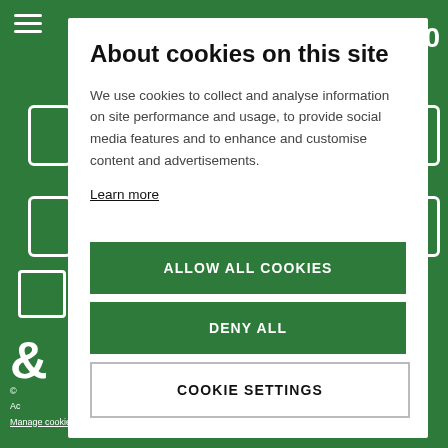About cookies on this site
We use cookies to collect and analyse information on site performance and usage, to provide social media features and to enhance and customise content and advertisements.
Learn more
ALLOW ALL COOKIES
DENY ALL
COOKIE SETTINGS
© Manage cookies